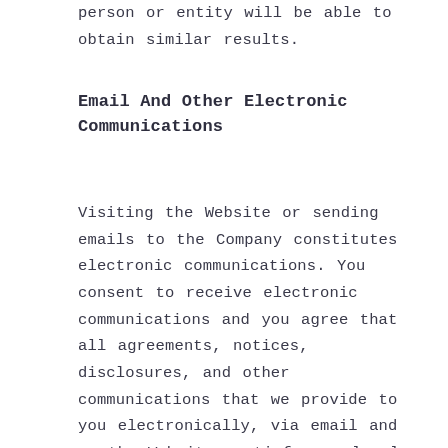person or entity will be able to obtain similar results.
Email And Other Electronic Communications
Visiting the Website or sending emails to the Company constitutes electronic communications. You consent to receive electronic communications and you agree that all agreements, notices, disclosures, and other communications that we provide to you electronically, via email and on the Website, satisfy any legal requirement that such communications be in writing.